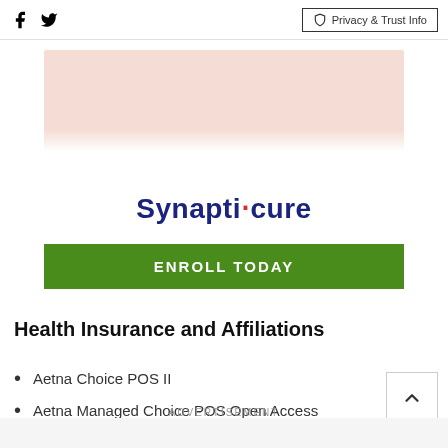Facebook | Twitter | Privacy & Trust Info
[Figure (illustration): Partial banner image with peach/salmon colored background, partially visible text at top]
Synapticure
ENROLL TODAY
Health Insurance and Affiliations
Aetna Choice POS II
Aetna Managed Choice POS Open Access
ADVERTISEMENT